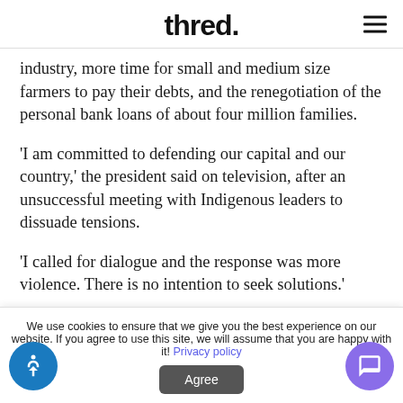thred.
industry, more time for small and medium size farmers to pay their debts, and the renegotiation of the personal bank loans of about four million families.
'I am committed to defending our capital and our country,' the president said on television, after an unsuccessful meeting with Indigenous leaders to dissuade tensions.
'I called for dialogue and the response was more violence. There is no intention to seek solutions.'
We use cookies to ensure that we give you the best experience on our website. If you agree to use this site, we will assume that you are happy with it! Privacy policy Agree